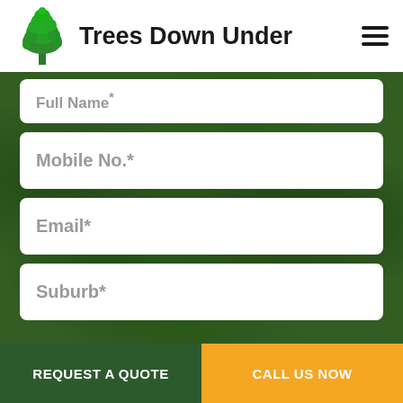[Figure (logo): Trees Down Under logo with green tree icon and bold black text]
Trees Down Under
[Figure (screenshot): Website contact form with fields: Full Name*, Mobile No.*, Email*, Suburb* on a blurred green tree background]
Full Name*
Mobile No.*
Email*
Suburb*
REQUEST A QUOTE
CALL US NOW